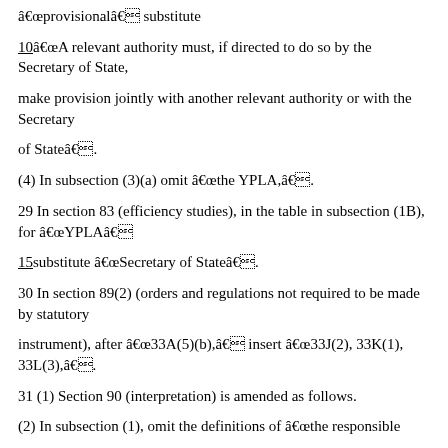â€œprovisionalâ€ substitute
10â€œA relevant authority must, if directed to do so by the Secretary of State,
make provision jointly with another relevant authority or with the Secretary
of Stateâ€.
(4) In subsection (3)(a) omit â€œthe YPLA,â€.
29 In section 83 (efficiency studies), in the table in subsection (1B), for â€œYPLAâ€
15substitute â€œSecretary of Stateâ€.
30 In section 89(2) (orders and regulations not required to be made by statutory
instrument), after â€œ33A(5)(b),â€ insert â€œ33J(2), 33K(1), 33L(3),â€.
31 (1) Section 90 (interpretation) is amended as follows.
(2) In subsection (1), omit the definitions of â€œthe responsible